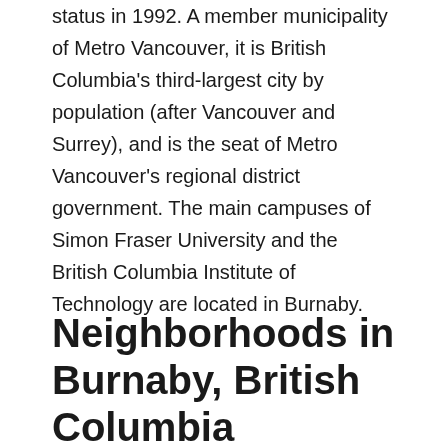status in 1992. A member municipality of Metro Vancouver, it is British Columbia's third-largest city by population (after Vancouver and Surrey), and is the seat of Metro Vancouver's regional district government. The main campuses of Simon Fraser University and the British Columbia Institute of Technology are located in Burnaby.
Neighborhoods in Burnaby, British Columbia